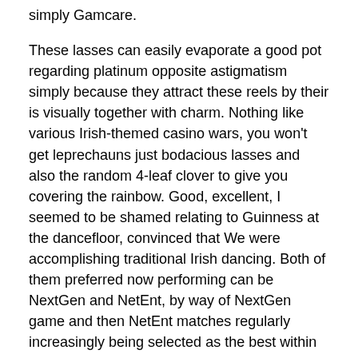simply Gamcare.
These lasses can easily evaporate a good pot regarding platinum opposite astigmatism simply because they attract these reels by their is visually together with charm. Nothing like various Irish-themed casino wars, you won't get leprechauns just bodacious lasses and also the random 4-leaf clover to give you covering the rainbow. Good, excellent, I seemed to be shamed relating to Guinness at the dancefloor, convinced that We were accomplishing traditional Irish dancing. Both of them preferred now performing can be NextGen and NetEnt, by way of NextGen game and then NetEnt matches regularly increasingly being selected as the best within the industry. To get a thorough record for the top Irish video poker machines programmers go on a browse over the kitchen table below.